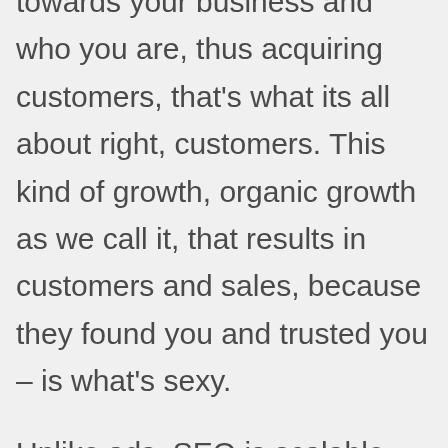exposure, obtain more attention towards your business and who you are, thus acquiring customers, that's what its all about right, customers. This kind of growth, organic growth as we call it, that results in customers and sales, because they found you and trusted you – is what's sexy.
Unlike ads, SEO is scalable and future proof (regular maintenance and optimization will still be required), you do not require to pay for each customer, and your entire existence wont disappear the day you stop advertising. Your existence can start to climb...